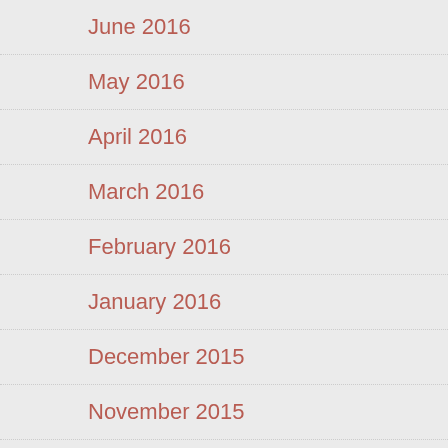June 2016
May 2016
April 2016
March 2016
February 2016
January 2016
December 2015
November 2015
October 2015
September 2015